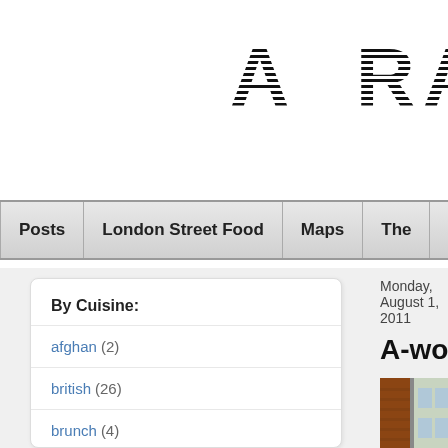A RATH…
Posts | London Street Food | Maps | The…
By Cuisine:
afghan (2)
british (26)
brunch (4)
burgers (11)
chinese (25)
cocktails (1)
Monday, August 1, 2011
A-wop bop-a lo…
[Figure (photo): Exterior of a building with brick and light green facade, showing a storefront or restaurant entrance.]